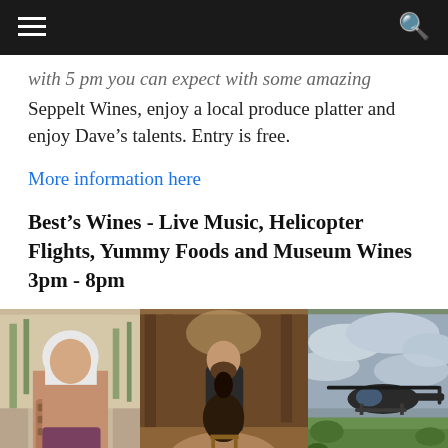[Navigation bar with hamburger menu and search icon]
Seppelt Wines, enjoy a local produce platter and enjoy Dave's talents. Entry is free.
More information here
Best's Wines - Live Music, Helicopter Flights, Yummy Foods and Museum Wines 3pm - 8pm
[Figure (photo): Three photos side by side: a woman with white hair and tattoos standing outdoors among trees; a bearded man sitting on a stool playing acoustic guitar in a forest setting; a helicopter on green ground with cloudy sky.]